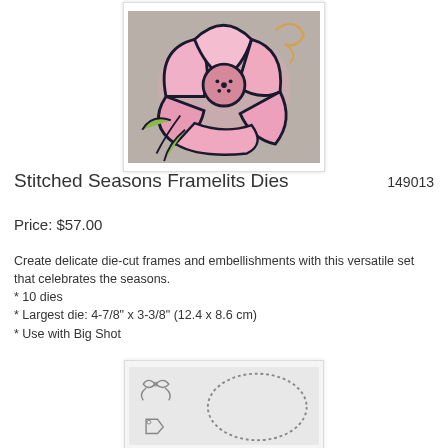[Figure (photo): Photo of a die-cut pink flower with dark navy outlines and green leaves, stained-glass style craft project on a gray background.]
Stitched Seasons Framelits Dies
149013
Price: $57.00
Create delicate die-cut frames and embellishments with this versatile set that celebrates the seasons.
* 10 dies
* Largest die: 4-7/8" x 3-3/8" (12.4 x 8.6 cm)
* Use with Big Shot
[Figure (photo): Product image showing die-cut framelit shapes including an oval with stitched border and small decorative elements, displayed on a light gray background.]